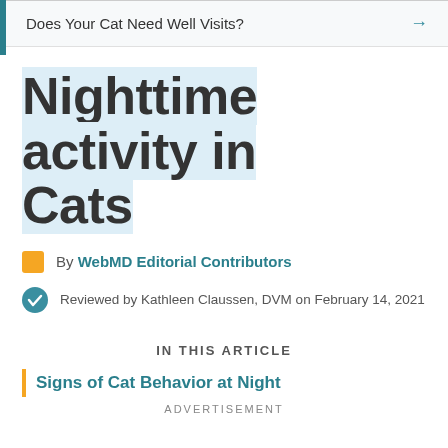Does Your Cat Need Well Visits? →
Nighttime activity in Cats
By WebMD Editorial Contributors
Reviewed by Kathleen Claussen, DVM on February 14, 2021
IN THIS ARTICLE
Signs of Cat Behavior at Night
ADVERTISEMENT